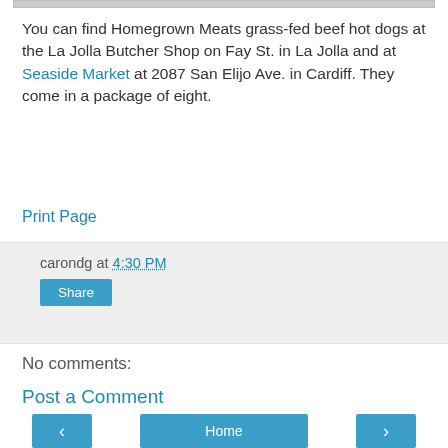[Figure (photo): Top portion of a food photo, cropped at top of page]
You can find Homegrown Meats grass-fed beef hot dogs at the La Jolla Butcher Shop on Fay St. in La Jolla and at Seaside Market at 2087 San Elijo Ave. in Cardiff. They come in a package of eight.
Print Page
carondg at 4:30 PM
Share
No comments:
Post a Comment